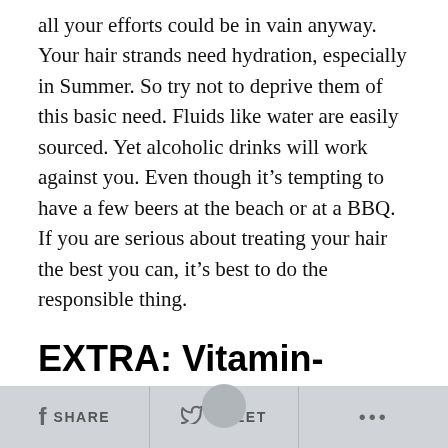all your efforts could be in vain anyway. Your hair strands need hydration, especially in Summer. So try not to deprive them of this basic need. Fluids like water are easily sourced. Yet alcoholic drinks will work against you. Even though it’s tempting to have a few beers at the beach or at a BBQ. If you are serious about treating your hair the best you can, it’s best to do the responsible thing.
EXTRA: Vitamin-Packed Food for Healthy Summer Hair
Getting your hair the nourishment it needs isn’t all about washing and hydrating. There are many things your hair needs, and this includes vitamins and minerals. Of course, you can get natural and organic shampoos. But
SHARE   TWEET   ...